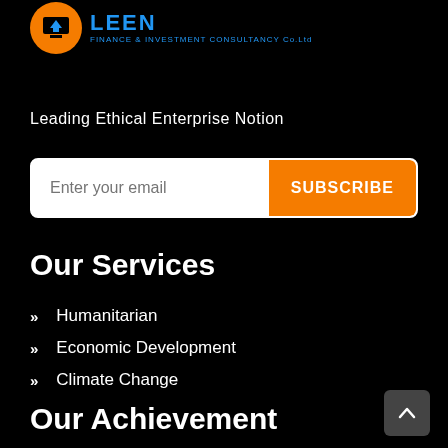[Figure (logo): LEEN Finance & Investment Consultancy Co.Ltd logo with orange/blue icon and blue text]
Leading Ethical Enterprise Notion
[Figure (other): Email subscription bar with text field 'Enter your email' and orange SUBSCRIBE button]
Our Services
Humanitarian
Economic Development
Climate Change
Our Achievement